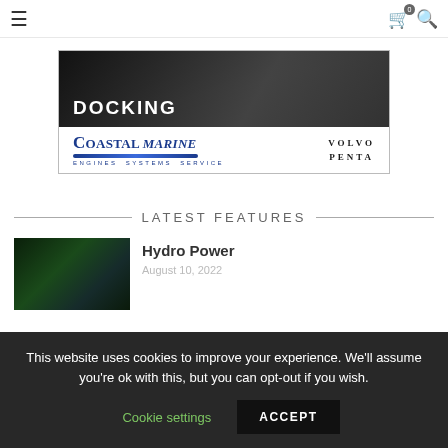Navigation bar with hamburger menu, cart (0), and search icons
[Figure (photo): Advertisement banner showing a boat cockpit with 'DOCKING' text and Coastal Marine / Volvo Penta logo bar below]
LATEST FEATURES
[Figure (photo): Thumbnail image of waterway with boats from aerial view]
Hydro Power
August 10, 2022
This website uses cookies to improve your experience. We'll assume you're ok with this, but you can opt-out if you wish.
Cookie settings  ACCEPT